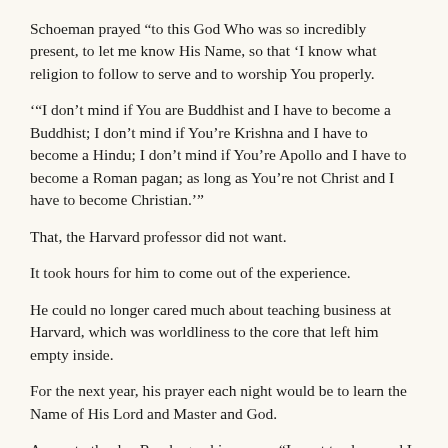Schoeman prayed “to this God Who was so incredibly present, to let me know His Name, so that ‘I know what religion to follow to serve and to worship You properly.
'“I don’t mind if You are Buddhist and I have to become a Buddhist; I don’t mind if You’re Krishna and I have to become a Hindu; I don’t mind if You’re Apollo and I have to become a Roman pagan; as long as You’re not Christ and I have to become Christian.’”
That, the Harvard professor did not want.
It took hours for him to come out of the experience.
He could no longer cared much about teaching business at Harvard, which was worldliness to the core that left him empty inside.
For the next year, his prayer each night would be to learn the Name of His Lord and Master and God.
A year to the day Roy began his prayer, “I went to sleep and I